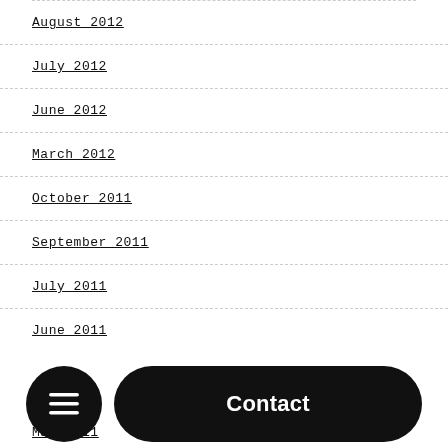August 2012
July 2012
June 2012
March 2012
October 2011
September 2011
July 2011
June 2011
May 2011